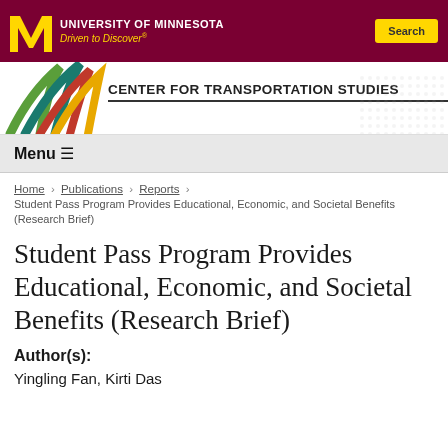University of Minnesota — Driven to Discover® | Search
[Figure (logo): Center for Transportation Studies logo with colorful swoosh and university watermark]
Menu ≡
Home › Publications › Reports ›
Student Pass Program Provides Educational, Economic, and Societal Benefits (Research Brief)
Student Pass Program Provides Educational, Economic, and Societal Benefits (Research Brief)
Author(s):
Yingling Fan, Kirti Das